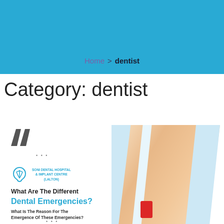Home > dentist
Category: dentist
[Figure (screenshot): Dental clinic article card for Soni Dental Hospital & Implant Centre (Lalton) showing article titled 'What Are The Different Dental Emergencies? What Is The Reason For The Emergence Of These Emergencies?' with a woman holding her jaw in pain on the right side.]